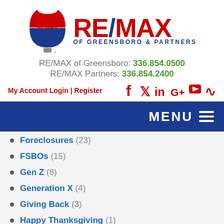[Figure (logo): RE/MAX hot air balloon logo with red/white/blue colors]
RE/MAX OF GREENSBORO & PARTNERS
RE/MAX of Greensboro: 336.854.0500
RE/MAX Partners: 336.854.2400
My Account Login | Register
[Figure (infographic): Social media icons: Facebook, Twitter, LinkedIn, Google+, YouTube, RSS]
MENU
Foreclosures (23)
FSBOs (15)
Gen Z (8)
Generation X (4)
Giving Back (3)
Happy Thanksgiving (1)
Holidays (11)
Home Building Tips (5)
Home Buyer Tips (198)
Home Buying Tips (1)